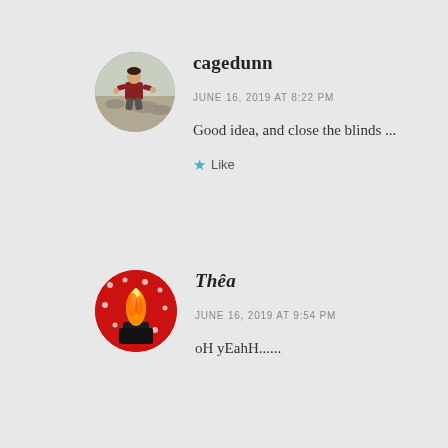[Figure (photo): Circular avatar photo of cagedunn, a person crouching outdoors]
cagedunn
JUNE 16, 2019 AT 8:22 PM
Good idea, and close the blinds ...
★ Like
[Figure (photo): Circular avatar photo of Thêa, showing fire or candle with red decorations]
Thêa
JUNE 16, 2019 AT 9:54 PM
oH yEahH......